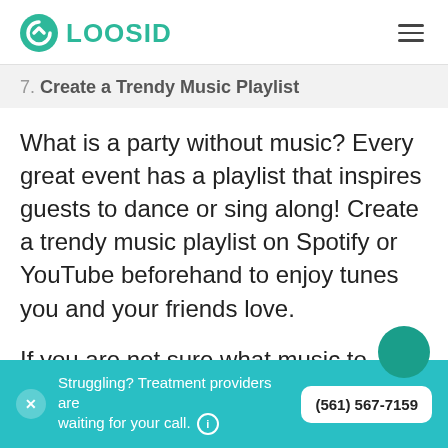LOOSID
7. Create a Trendy Music Playlist
What is a party without music? Every great event has a playlist that inspires guests to dance or sing along! Create a trendy music playlist on Spotify or YouTube beforehand to enjoy tunes you and your friends love.
If you are not sure what music to
Struggling? Treatment providers are waiting for your call. (i) (561) 567-7159